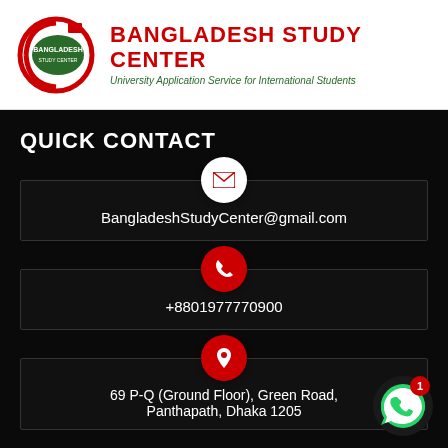[Figure (logo): Bangladesh Study Center logo - circular emblem with green oval and Bangladesh text]
BANGLADESH STUDY CENTER
University Application Service for International Students
QUICK CONTACT
BangladeshStudyCenter@gmail.com
+8801977770900
69 P-Q (Ground Floor), Green Road, Panthapath, Dhaka 1205